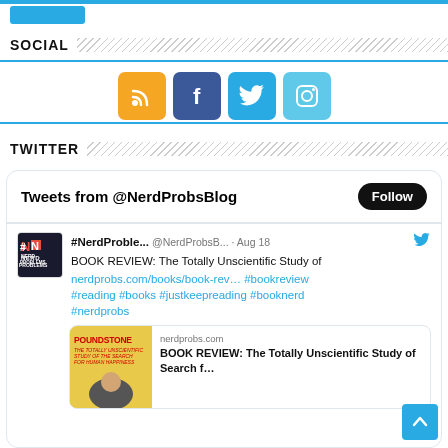[Figure (screenshot): Blue button at top of page]
SOCIAL
[Figure (infographic): Social media icons: RSS (orange), Facebook (blue), Twitter (light blue), Instagram (light blue)]
TWITTER
[Figure (screenshot): Twitter widget showing Tweets from @NerdProbsBlog with a Follow button. Tweet by #NerdProble... @NerdProbsB... Aug 18: BOOK REVIEW: The Totally Unscientific Study of nerdprobs.com/books/book-rev... #bookreview #reading #books #justkeepreading #booknerd #nerdprobs. With a book card showing nerdprobs.com BOOK REVIEW: The Totally Unscientific Study of Search f...]